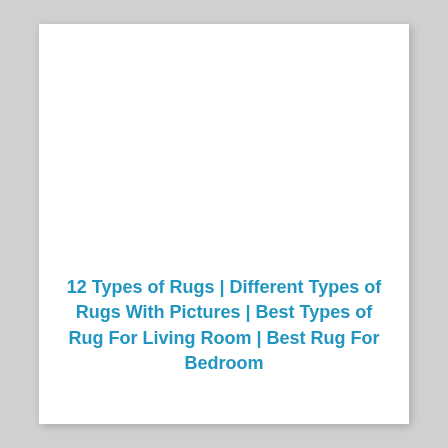12 Types of Rugs | Different Types of Rugs With Pictures | Best Types of Rug For Living Room | Best Rug For Bedroom